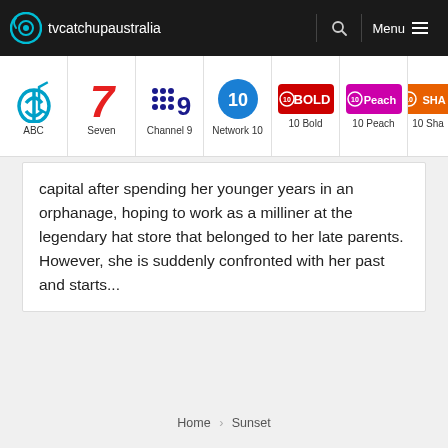tvcatchupaustralia — navigation bar with logo, search, and menu
[Figure (logo): TV channel navigation bar showing logos for ABC, Seven, Channel 9, Network 10, 10 Bold, 10 Peach, 10 Sha(ke)]
capital after spending her younger years in an orphanage, hoping to work as a milliner at the legendary hat store that belonged to her late parents. However, she is suddenly confronted with her past and starts...
Home › Sunset